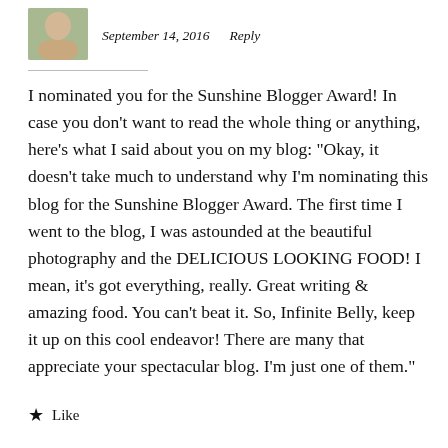September 14, 2016  Reply
I nominated you for the Sunshine Blogger Award! In case you don't want to read the whole thing or anything, here's what I said about you on my blog: "Okay, it doesn't take much to understand why I'm nominating this blog for the Sunshine Blogger Award. The first time I went to the blog, I was astounded at the beautiful photography and the DELICIOUS LOOKING FOOD! I mean, it's got everything, really. Great writing & amazing food. You can't beat it. So, Infinite Belly, keep it up on this cool endeavor! There are many that appreciate your spectacular blog. I'm just one of them."
Like